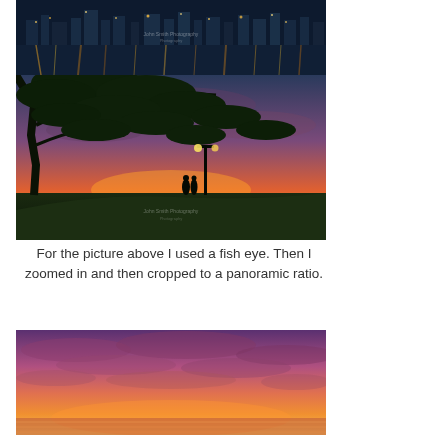[Figure (photo): Night cityscape reflected on water, dark blue tones with city lights]
[Figure (photo): Sunset scene with large tree silhouette framing two people standing near a lamppost by the water, orange and pink sky]
For the picture above I used a fish eye. Then I zoomed in and then cropped to a panoramic ratio.
[Figure (photo): Panoramic crop of sunset sky with purple-pink clouds over water]